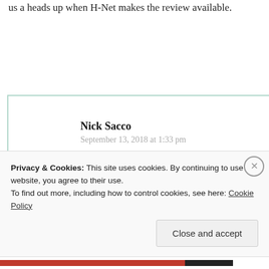us a heads up when H-Net makes the review available.
Nick Sacco
September 13, 2018 at 1:33 pm
Thanks, I will make sure to let everyone know when it goes live!
Privacy & Cookies: This site uses cookies. By continuing to use this website, you agree to their use.
To find out more, including how to control cookies, see here: Cookie Policy
Close and accept